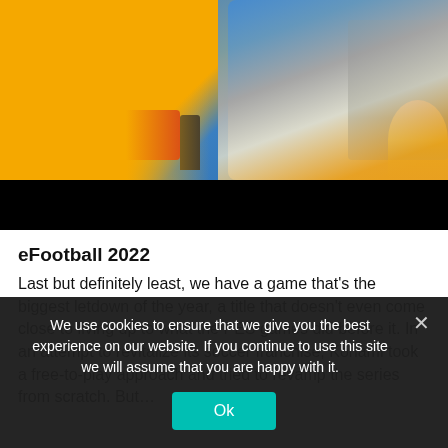[Figure (illustration): Game promotional image with yellow and blue background showing a figure on the left, a large truck/vehicle on the right with chrome details and flames, and a red food cart in the middle. Below is a solid black bar/video player area.]
eFootball 2022
Last but definitely least, we have a game that's the biggest letdown of the year, a title that doesn't even come close to living up to what the PES games did before it. In an attempt to revitalize its soccer franchise, Konami took a free-to-play approach and tried to revamp the series from scratch. But…
We use cookies to ensure that we give you the best experience on our website. If you continue to use this site we will assume that you are happy with it.